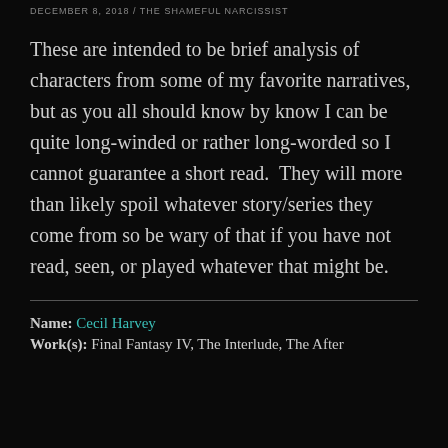DECEMBER 8, 2018 / THE SHAMEFUL NARCISSIST
These are intended to be brief analysis of characters from some of my favorite narratives, but as you all should know by know I can be quite long-winded or rather long-worded so I cannot guarantee a short read.  They will more than likely spoil whatever story/series they come from so be wary of that if you have not read, seen, or played whatever that might be.
Name: Cecil Harvey
Work(s): Final Fantasy IV, The Interlude, The After